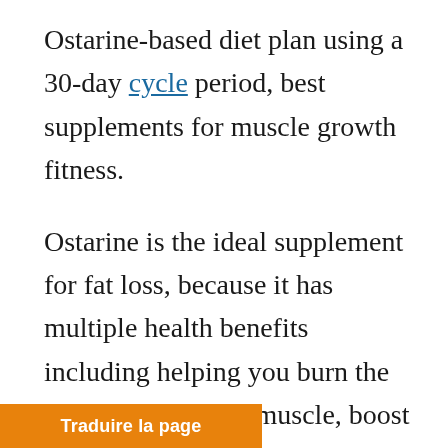Ostarine-based diet plan using a 30-day cycle period, best supplements for muscle growth fitness.
Ostarine is the ideal supplement for fat loss, because it has multiple health benefits including helping you burn the body fat, maintain muscle, boost your energy levels and help you lose weight.
It is also a very stable fat burner by itself, plus when you're cutting